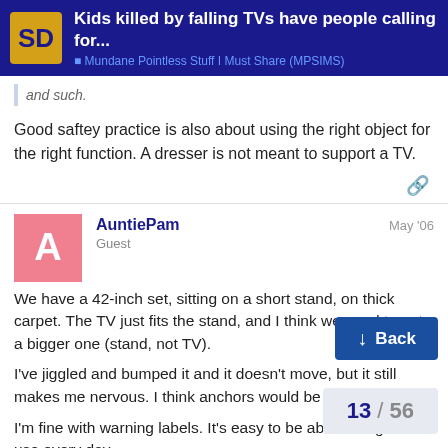Kids killed by falling TVs have people calling for... | Mundane Pointless Stuff I Must Share (MPSIMS)
and such.
Good saftey practice is also about using the right object for the right function. A dresser is not meant to support a TV.
AuntiePam Guest May '06
We have a 42-inch set, sitting on a short stand, on thick carpet. The TV just fits the stand, and I think we need to get a bigger one (stand, not TV).
I've jiggled and bumped it and it doesn't move, but it still makes me nervous. I think anchors would be great.
I'm fine with warning labels. It's easy to be about things we use every day.